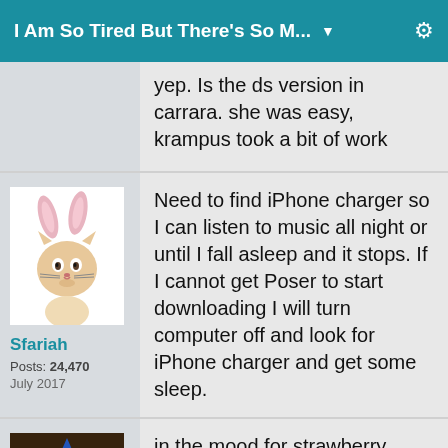I Am So Tired But There's So M...
yep.  Is the ds version in carrara.  she was easy, krampus took a bit of work
[Figure (photo): Cat wearing pink bunny ears, avatar of user Sfariah]
Sfariah
Posts: 24,470
July 2017
Need to find iPhone charger so I can listen to music all night or until I fall asleep and it stops.   If I cannot get Poser to start downloading I will turn computer off and look for iPhone charger and get some sleep.
[Figure (photo): Person wearing a blue wizard hat with stars, partial avatar image]
in the mood for strawberry waffls now.  how'f that happen?